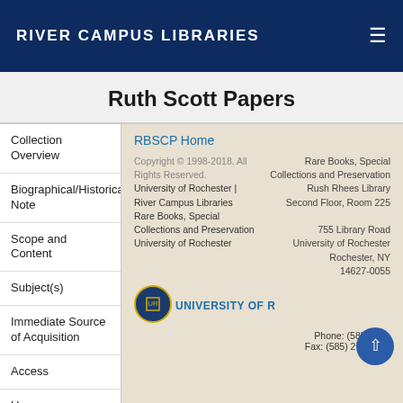River Campus Libraries
Ruth Scott Papers
Collection Overview
Biographical/Historical Note
Scope and Content
Subject(s)
Immediate Source of Acquisition
Access
Use
RBSCP Home
Copyright © 1998-2018. All Rights Reserved. University of Rochester | River Campus Libraries Rare Books, Special Collections and Preservation University of Rochester
Rare Books, Special Collections and Preservation Rush Rhees Library Second Floor, Room 225 755 Library Road University of Rochester Rochester, NY 14627-0055 Phone: (585) 275- Fax: (585) 273-1032